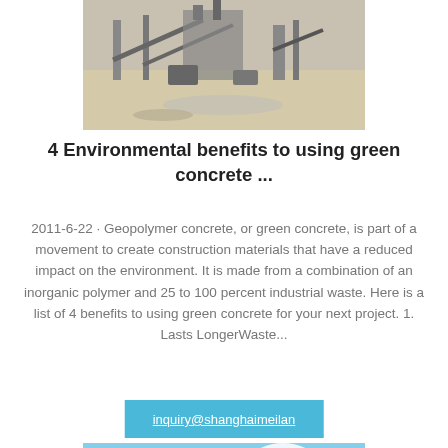[Figure (photo): Aerial view of a concrete/aggregate industrial plant with conveyors and machinery on sandy ground]
4 Environmental benefits to using green concrete ...
2011-6-22 · Geopolymer concrete, or green concrete, is part of a movement to create construction materials that have a reduced impact on the environment. It is made from a combination of an inorganic polymer and 25 to 100 percent industrial waste. Here is a list of 4 benefits to using green concrete for your next project. 1. Lasts LongerWaste...
inquiry@shanghaimeilan
[Figure (photo): Partial view of construction/mining machinery against a blue sky with clouds]